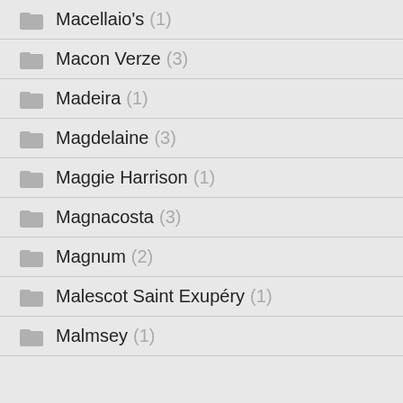Macellaio's (1)
Macon Verze (3)
Madeira (1)
Magdelaine (3)
Maggie Harrison (1)
Magnacosta (3)
Magnum (2)
Malescot Saint Exupéry (1)
Malmsey (1)